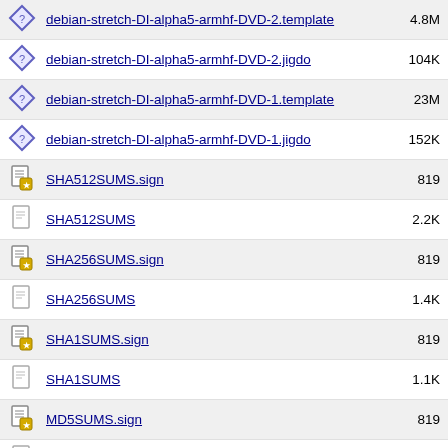debian-stretch-DI-alpha5-armhf-DVD-2.template  4.8M
debian-stretch-DI-alpha5-armhf-DVD-2.jigdo  104K
debian-stretch-DI-alpha5-armhf-DVD-1.template  23M
debian-stretch-DI-alpha5-armhf-DVD-1.jigdo  152K
SHA512SUMS.sign  819
SHA512SUMS  2.2K
SHA256SUMS.sign  819
SHA256SUMS  1.4K
SHA1SUMS.sign  819
SHA1SUMS  1.1K
MD5SUMS.sign  819
MD5SUMS  1.0K
Apache/2.4.54 (Unix) Server at ftp.acc.umu.se Port 80